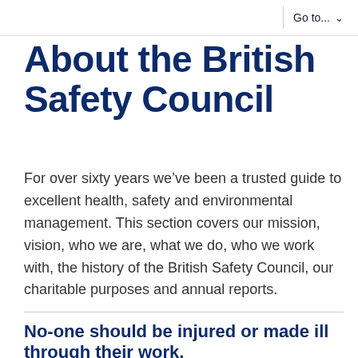Go to...
About the British Safety Council
For over sixty years we’ve been a trusted guide to excellent health, safety and environmental management. This section covers our mission, vision, who we are, what we do, who we work with, the history of the British Safety Council, our charitable purposes and annual reports.
No-one should be injured or made ill through their work.